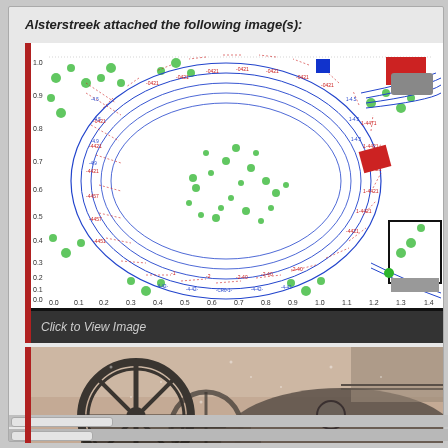Alsterstreek attached the following image(s):
[Figure (engineering-diagram): Model railroad track layout diagram showing an oval loop of blue track lines with red dashed measurement annotations, green scattered dots representing scenery/trees, a blue square marker, red rectangular objects, and a gray rectangular object at top right. Axes are labeled 0.0 to 1.5 on x-axis and 0.0 to 1.0 on y-axis.]
Click to View Image
[Figure (photo): Sepia/black and white photograph showing large mechanical wheel/flywheel machinery with spokes, appears to be part of a steam locomotive or industrial equipment, with a building visible in the background.]